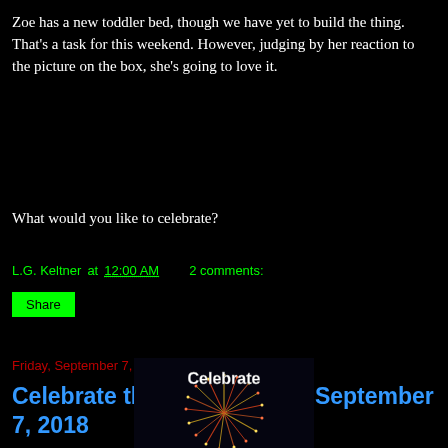Zoe has a new toddler bed, though we have yet to build the thing. That's a task for this weekend. However, judging by her reaction to the picture on the box, she's going to love it.
What would you like to celebrate?
L.G. Keltner at 12:00 AM    2 comments:
Share
Friday, September 7, 2018
Celebrate the Small Things-September 7, 2018
[Figure (photo): Fireworks celebration image with text 'Celebrate' overlaid in white font on a dark background with colorful fireworks burst]